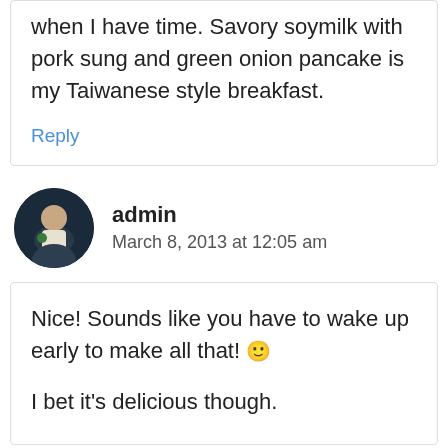when I have time. Savory soymilk with pork sung and green onion pancake is my Taiwanese style breakfast.
Reply
admin
March 8, 2013 at 12:05 am
Nice! Sounds like you have to wake up early to make all that! 🙂
I bet it's delicious though.